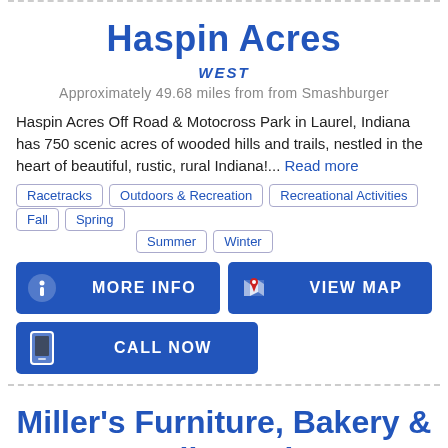Haspin Acres
WEST
Approximately 49.68 miles from from Smashburger
Haspin Acres Off Road & Motocross Park in Laurel, Indiana has 750 scenic acres of wooded hills and trails, nestled in the heart of beautiful, rustic, rural Indiana!... Read more
Racetracks
Outdoors & Recreation
Recreational Activities
Fall
Spring
Summer
Winter
MORE INFO
VIEW MAP
CALL NOW
Miller's Furniture, Bakery & Bulk Foods
EAST